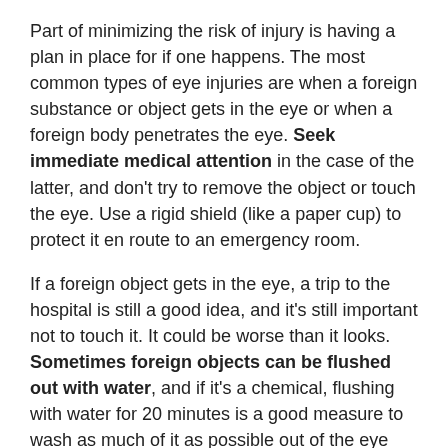Part of minimizing the risk of injury is having a plan in place for if one happens. The most common types of eye injuries are when a foreign substance or object gets in the eye or when a foreign body penetrates the eye. Seek immediate medical attention in the case of the latter, and don't try to remove the object or touch the eye. Use a rigid shield (like a paper cup) to protect it en route to an emergency room.
If a foreign object gets in the eye, a trip to the hospital is still a good idea, and it's still important not to touch it. It could be worse than it looks. Sometimes foreign objects can be flushed out with water, and if it's a chemical, flushing with water for 20 minutes is a good measure to wash as much of it as possible out of the eye and minimize any harmful effects.
Come to Us With Eye Safety Questions
If you're looking for any additional advice on home eye